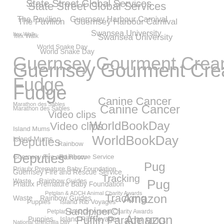[Figure (infographic): Tag cloud showing various topics and organizations in varying font sizes, all in gray color. Tags include: State Street Global Services, The Pavilion, Guernsey Harbour Carnival, Itex Walk, Swansea University, World Snake Day, Guernsey Gourment Cream Fudge, Marathon des Sables, Canine Cancer, Video clips, Island Mums, WorldBookDay, Deputies, Rainbow, Guernsey Fire and Rescue Service, Priaulx Premature Baby Foundation, Pug, Waste, Rainbow Guides, Tracking, Petplan & ADCH Animal Charity Awards, Puppies, Island Rib Voyages, Amazon, SandpiperCI, National Chinchilla Day, Puffin Parade, MUG, RSPB, Le Friquet Garden Centre]